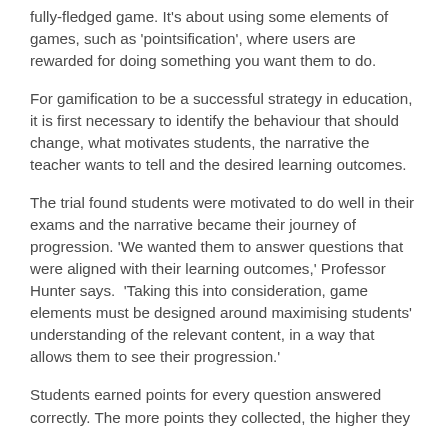fully-fledged game. It's about using some elements of games, such as 'pointsification', where users are rewarded for doing something you want them to do.
For gamification to be a successful strategy in education, it is first necessary to identify the behaviour that should change, what motivates students, the narrative the teacher wants to tell and the desired learning outcomes.
The trial found students were motivated to do well in their exams and the narrative became their journey of progression. 'We wanted them to answer questions that were aligned with their learning outcomes,' Professor Hunter says.  'Taking this into consideration, game elements must be designed around maximising students' understanding of the relevant content, in a way that allows them to see their progression.'
Students earned points for every question answered correctly. The more points they collected, the higher they